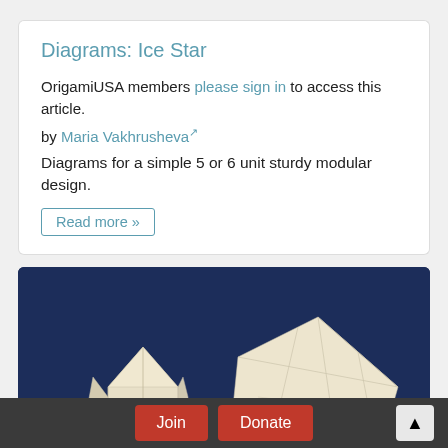Diagrams: Ice Star
OrigamiUSA members please sign in to access this article.
by Maria Vakhrusheva
Diagrams for a simple 5 or 6 unit sturdy modular design.
Read more »
[Figure (photo): Photo of two white origami modular structures (ice star models) against a dark blue background. The models are angular and geometric, made from folded white paper units.]
Join   Donate